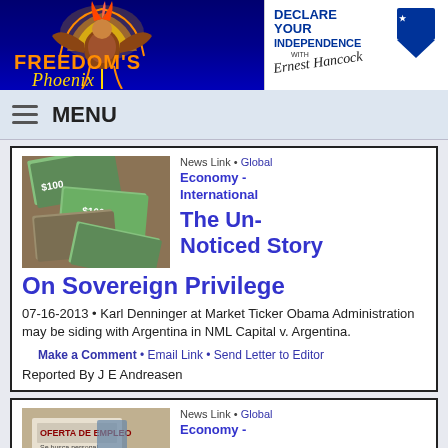[Figure (logo): Freedom's Phoenix logo with phoenix bird on blue background]
[Figure (logo): Declare Your Independence with Ernest Hancock logo]
MENU
News Link • Global
Economy - International
The Un-Noticed Story On Sovereign Privilege
07-16-2013 • Karl Denninger at Market Ticker Obama Administration may be siding with Argentina in NML Capital v. Argentina.
Make a Comment • Email Link • Send Letter to Editor
Reported By J E Andreasen
News Link • Global
Economy -